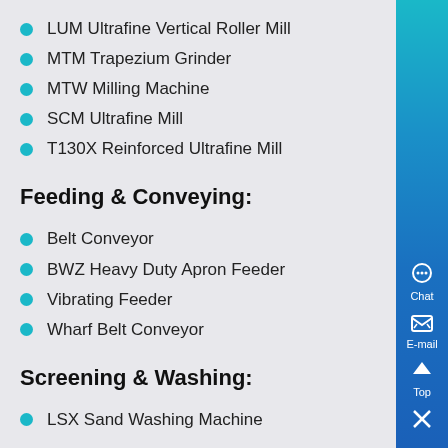LUM Ultrafine Vertical Roller Mill
MTM Trapezium Grinder
MTW Milling Machine
SCM Ultrafine Mill
T130X Reinforced Ultrafine Mill
Feeding & Conveying:
Belt Conveyor
BWZ Heavy Duty Apron Feeder
Vibrating Feeder
Wharf Belt Conveyor
Screening & Washing:
LSX Sand Washing Machine